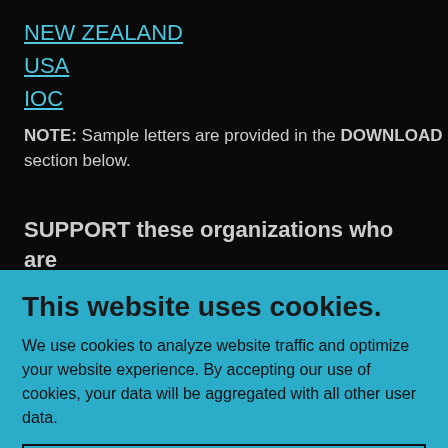NEW ZEALAND
USA
IOC
NOTE: Sample letters are provided in the DOWNLOAD section below.
SUPPORT these organizations who are
This website uses cookies.
We use cookies to analyze website traffic and optimize your website experience. By accepting our use of cookies, your data will be aggregated with all other user data.
Accept